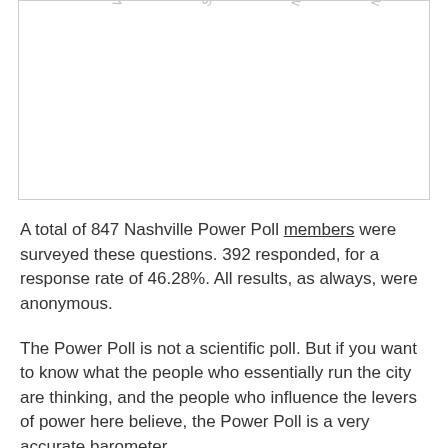[Figure (other): Top portion of a chart showing rotated x-axis labels: 'Very concern...', 'Somewhat concern...', 'Not too concern...', 'Not at all concern...' — partial chart cut off at top of page]
A total of 847 Nashville Power Poll members were surveyed these questions. 392 responded, for a response rate of 46.28%. All results, as always, were anonymous.
The Power Poll is not a scientific poll. But if you want to know what the people who essentially run the city are thinking, and the people who influence the levers of power here believe, the Power Poll is a very accurate barometer.